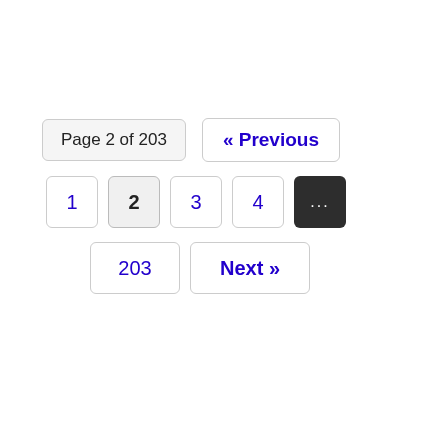Page 2 of 203
« Previous
1
2
3
4
...
203
Next »